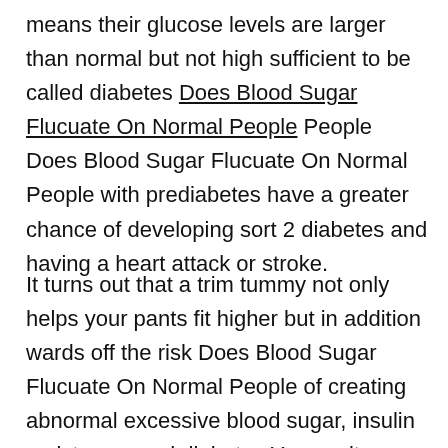means their glucose levels are larger than normal but not high sufficient to be called diabetes Does Blood Sugar Flucuate On Normal People People Does Blood Sugar Flucuate On Normal People with prediabetes have a greater chance of developing sort 2 diabetes and having a heart attack or stroke.
It turns out that a trim tummy not only helps your pants fit higher but in addition wards off the risk Does Blood Sugar Flucuate On Normal People of creating abnormal excessive blood sugar, insulin resistance, and diabetes Your wait measurement could possibly be more essential than the quantity on the size in relation to sustaining metabolic well being and avoiding persistent circumstances related to high